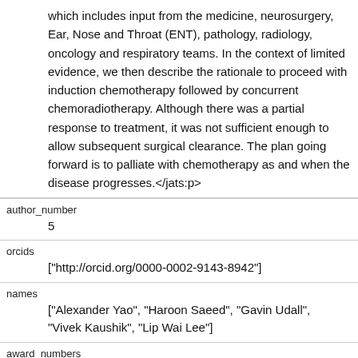which includes input from the medicine, neurosurgery, Ear, Nose and Throat (ENT), pathology, radiology, oncology and respiratory teams. In the context of limited evidence, we then describe the rationale to proceed with induction chemotherapy followed by concurrent chemoradiotherapy. Although there was a partial response to treatment, it was not sufficient enough to allow subsequent surgical clearance. The plan going forward is to palliate with chemotherapy as and when the disease progresses.</jats:p>
author_number
5
orcids
["http://orcid.org/0000-0002-9143-8942"]
names
["Alexander Yao", "Haroon Saeed", "Gavin Udall", "Vivek Kaushik", "Lip Wai Lee"]
award_numbers